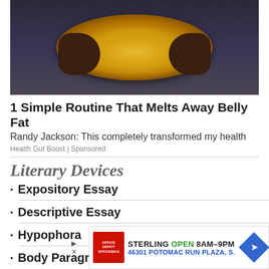[Figure (photo): Person holding a bowl of lemon slices]
1 Simple Routine That Melts Away Belly Fat
Randy Jackson: This completely transformed my health
Health Gut Boost | Sponsored
Literary Devices
Expository Essay
Descriptive Essay
Hypophora
Body Paragraph
[Figure (other): Bottom advertisement: STERLING OPEN 8AM-9PM, 46301 POTOMAC RUN PLAZA, S.]